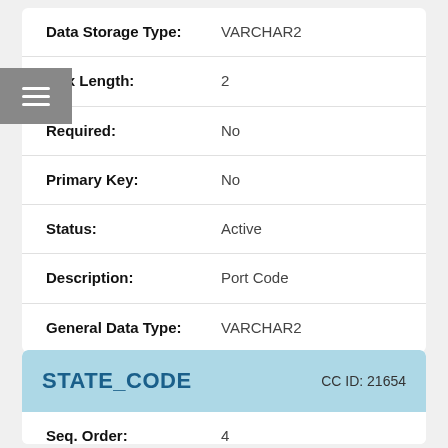| Field | Value |
| --- | --- |
| Data Storage Type: | VARCHAR2 |
| Max Length: | 2 |
| Required: | No |
| Primary Key: | No |
| Status: | Active |
| Description: | Port Code |
| General Data Type: | VARCHAR2 |
STATE_CODE   CC ID: 21654
| Field | Value |
| --- | --- |
| Seq. Order: | 4 |